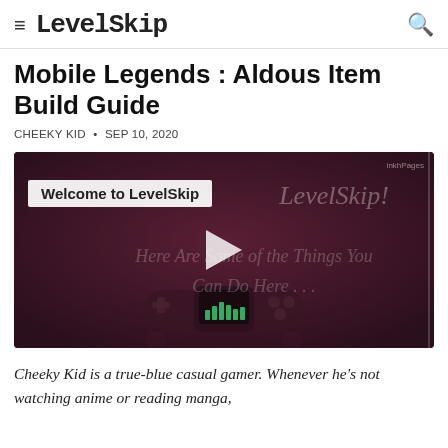LevelSkip
Mobile Legends : Aldous Item Build Guide
CHEEKY KID • SEP 10, 2020
[Figure (screenshot): Video player thumbnail for LevelSkip welcome video, showing a dark maroon background with stylized game controller graphic, play button, text 'Welcome to LevelSkip' overlay, and semi-transparent italic text reading 'Welcome to LevelSkip! Here Are Some of the Things You Can Do Here...']
Cheeky Kid is a true-blue casual gamer. Whenever he's not watching anime or reading manga,